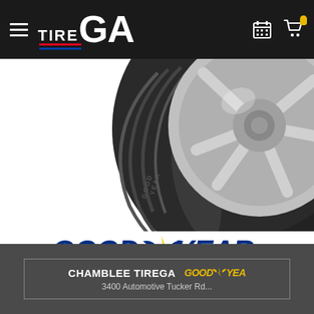TIRE GA — navigation header with hamburger menu, logo, calendar icon, and cart icon
[Figure (photo): Close-up photo of a Goodyear tire with chrome alloy wheel rim, showing tread pattern detail, on white background]
[Figure (logo): Goodyear logo in blue italic text with yellow lightning bolt winged foot emblem]
CHAMBLEE TIREGA GOODYEAR — 3400 Automotive Tucker Rd...